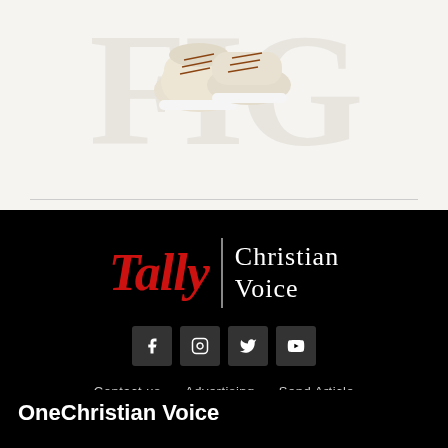[Figure (photo): A pair of beige/cream suede sneakers with brown laces photographed from above on a white background, with large faint block letters in the background.]
[Figure (logo): Tally Christian Voice logo — 'Tally' in red italic serif font, vertical divider line, 'Christian Voice' in white serif font, on black background.]
[Figure (infographic): Four social media icon buttons (Facebook, Instagram, Twitter, YouTube) in dark square buttons on black background.]
Contact us   Advertising   Send Article
OneChristian Voice